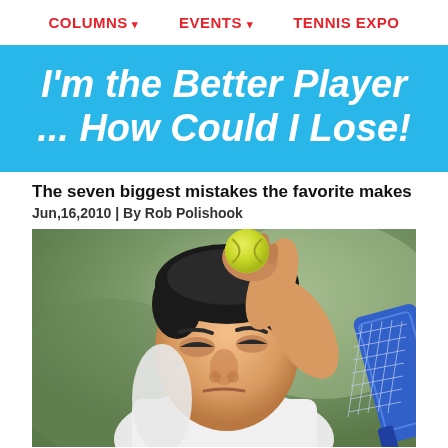COLUMNS ▾  EVENTS ▾  TENNIS EXPO
I'm the Better Player ... How Could I Lose!
The seven biggest mistakes the favorite makes
Jun,16,2010 | By Rob Polishook
[Figure (photo): A frustrated male tennis player pressing a yellow tennis ball against his forehead with eyes closed, holding a blue tennis racket, wearing a white sleeveless shirt, against a gray-green outdoor background.]